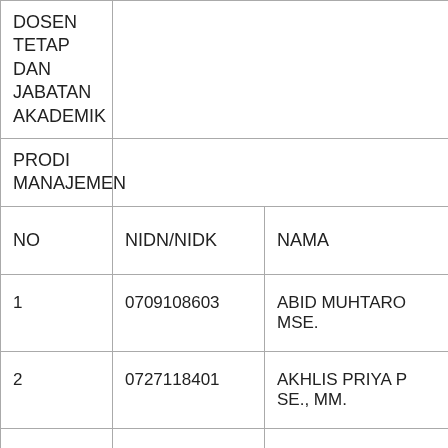| DOSEN TETAP DAN JABATAN AKADEMIK / PRODI MANAJEMEN / NO | NIDN/NIDK | NAMA |
| --- | --- | --- |
| 1 | 0709108603 | ABID MUHTARO MSE. |
| 2 | 0727118401 | AKHLIS PRIYA PA SE., MM. |
| 3 | 0710048601 | ALI FATHONI, ST |